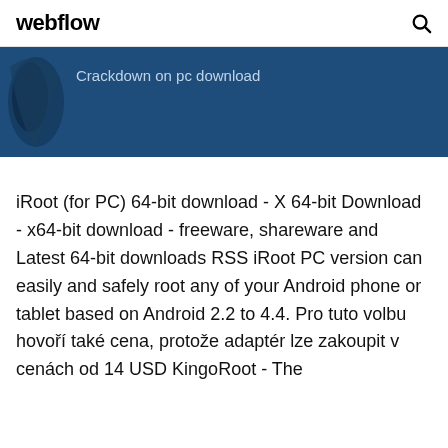webflow
Crackdown on pc download
iRoot (for PC) 64-bit download - X 64-bit Download - x64-bit download - freeware, shareware and Latest 64-bit downloads RSS iRoot PC version can easily and safely root any of your Android phone or tablet based on Android 2.2 to 4.4. Pro tuto volbu hovoří také cena, protože adaptér lze zakoupit v cenách od 14 USD KingoRoot - The